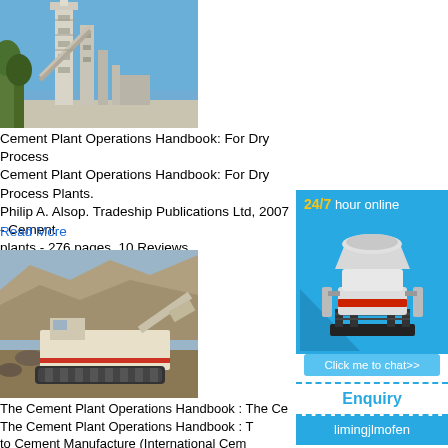[Figure (photo): Industrial cement plant with tall tower structures against blue sky with trees]
Cement Plant Operations Handbook: For Dry Process
Cement Plant Operations Handbook: For Dry Process Plants. Philip A. Alsop. Tradeship Publications Ltd, 2007 - Cement plants - 276 pages. 10 Reviews .
Read More
[Figure (photo): Mobile rock crushing equipment in a quarry with rocky hillside in background]
[Figure (photo): Advertisement: 24/7 hour online chat with cone crusher machine image, Click me to chat>>, Enquiry, limingjlmofen]
The Cement Plant Operations Handbook : The Ce...
The Cement Plant Operations Handbook : T... e to Cement Manufacture (International Cem... Amazon. *FREE* shipping on qualifying off...